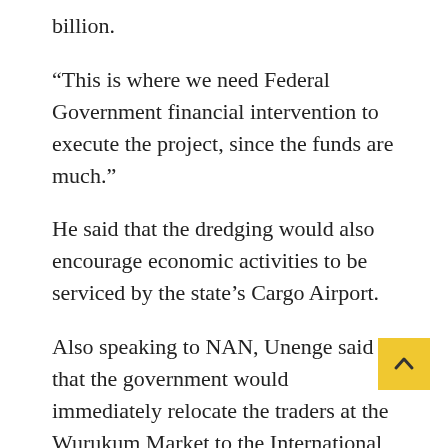billion.
“This is where we need Federal Government financial intervention to execute the project, since the funds are much.”
He said that the dredging would also encourage economic activities to be serviced by the state’s Cargo Airport.
Also speaking to NAN, Unenge said that the government would immediately relocate the traders at the Wurukum Market to the International Market.
He said that government was ready to provide additional land for the traders in case the International Market was not sufficient.